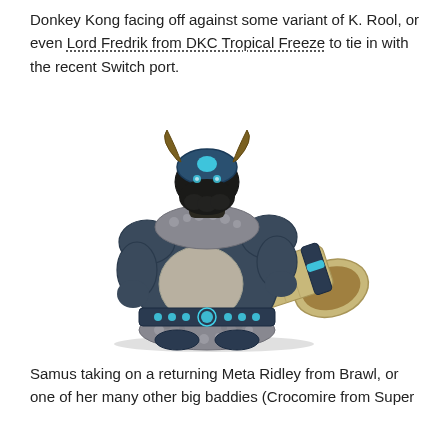Donkey Kong facing off against some variant of K. Rool, or even Lord Fredrik from DKC Tropical Freeze to tie in with the recent Switch port.
[Figure (illustration): 3D render of Lord Fredrik, a large viking-themed villain character from Donkey Kong Country: Tropical Freeze. He wears a blue horned helmet, has a large round belly with a blue glowing belt with lights, fur trim, dark armor shoulder pieces, and holds a large tan/beige horn-like weapon (Snomad horn) with blue glowing rings.]
Samus taking on a returning Meta Ridley from Brawl, or one of her many other big baddies (Crocomire from Super